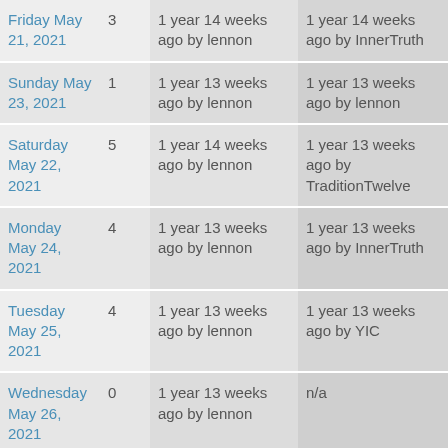| Date | Posts | Last Post | Last Reply |
| --- | --- | --- | --- |
| Friday May 21, 2021 | 3 | 1 year 14 weeks ago by lennon | 1 year 14 weeks ago by InnerTruth |
| Sunday May 23, 2021 | 1 | 1 year 13 weeks ago by lennon | 1 year 13 weeks ago by lennon |
| Saturday May 22, 2021 | 5 | 1 year 14 weeks ago by lennon | 1 year 13 weeks ago by TraditionTwelve |
| Monday May 24, 2021 | 4 | 1 year 13 weeks ago by lennon | 1 year 13 weeks ago by InnerTruth |
| Tuesday May 25, 2021 | 4 | 1 year 13 weeks ago by lennon | 1 year 13 weeks ago by YIC |
| Wednesday May 26, 2021 | 0 | 1 year 13 weeks ago by lennon | n/a |
| Thursday May 27, 2021 | 2 | 1 year 13 weeks ago by lennon | 1 year 13 weeks ago by InnerTruth |
| Friday May | 2 | 1 year 13 weeks ago | 1 year 13 weeks ago |